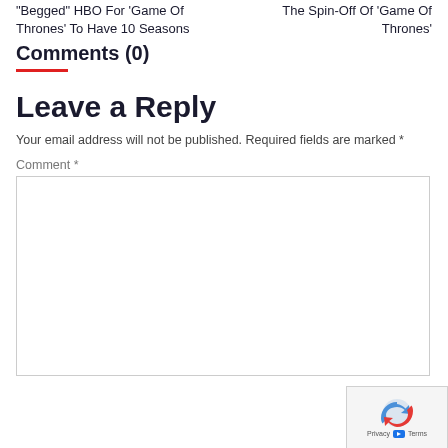“Begged” HBO For ‘Game Of Thrones’ To Have 10 Seasons
The Spin-Off Of ‘Game Of Thrones’
Comments (0)
Leave a Reply
Your email address will not be published. Required fields are marked *
Comment *